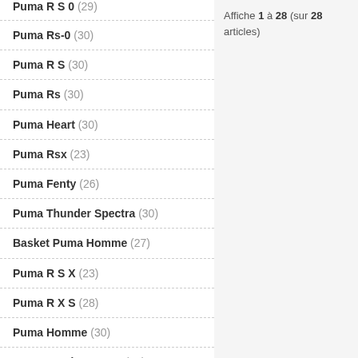Puma R S 0 (29)
Puma Rs-0 (30)
Puma R S (30)
Puma Rs (30)
Puma Heart (30)
Puma Rsx (23)
Puma Fenty (26)
Puma Thunder Spectra (30)
Basket Puma Homme (27)
Puma R S X (23)
Puma R X S (28)
Puma Homme (30)
Puma Suede Femme (30)
Puma Mostro (28)
Puma Cali Blanche (23)
Puma Noir (28)
Affiche 1 à 28 (sur 28 articles)